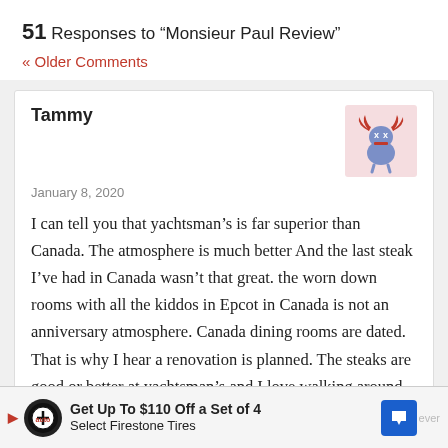51 Responses to “Monsieur Paul Review”
« Older Comments
Tammy
January 8, 2020
[Figure (illustration): Avatar icon of a cartoon monster character with red antlers/claws on a pink background]
I can tell you that yachtsman’s is far superior than Canada. The atmosphere is much better And the last steak I’ve had in Canada wasn’t that great. the worn down rooms with all the kiddos in Epcot in Canada is not an anniversary atmosphere. Canada dining rooms are dated. That is why I hear a renovation is planned. The steaks are good or better at yachtsman’s and I love walking around the yacht and Beach club at night it’s beautiful. I would say the best place for anniversary dinner Is Monsieur Paul’s. In Epcot. It is not only the
Get Up To $110 Off a Set of 4 Select Firestone Tires